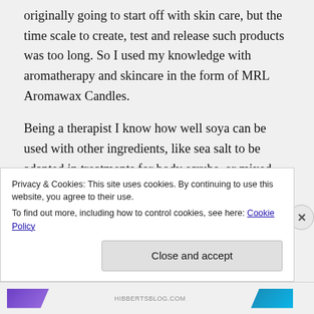originally going to start off with skin care, but the time scale to create, test and release such products was too long. So I used my knowledge with aromatherapy and skincare in the form of MRL Aromawax Candles.

Being a therapist I know how well soya can be used with other ingredients, like sea salt to be adapted in treatments for body scrubs, or mixed with therapeutic mud for body wraps. Soya has a complete amino acid complex so the candle bases
Privacy & Cookies: This site uses cookies. By continuing to use this website, you agree to their use.
To find out more, including how to control cookies, see here: Cookie Policy
Close and accept